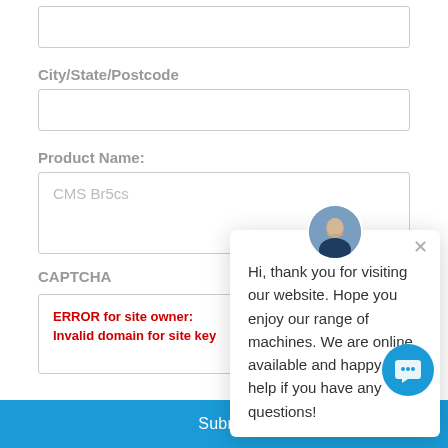City/State/Postcode
Product Name:
CMS Br5cs
CAPTCHA
ERROR for site owner:
Invalid domain for site key
[Figure (screenshot): reCAPTCHA widget with error message]
[Figure (screenshot): Chat popup with avatar, close button, and greeting message: Hi, thank you for visiting our website. Hope you enjoy our range of machines. We are online, available and happy to help if you have any questions!]
Submit